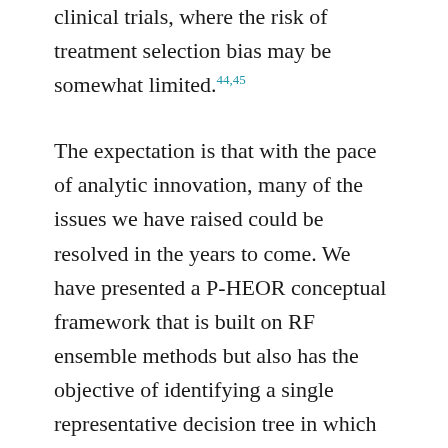clinical trials, where the risk of treatment selection bias may be somewhat limited.44,45
The expectation is that with the pace of analytic innovation, many of the issues we have raised could be resolved in the years to come. We have presented a P-HEOR conceptual framework that is built on RF ensemble methods but also has the objective of identifying a single representative decision tree in which clinically interpretable subgroups could be used for individualized prediction. The successful application of the P-HEOR conceptual framework would rely on the granular availability of life expectancy, utility, and